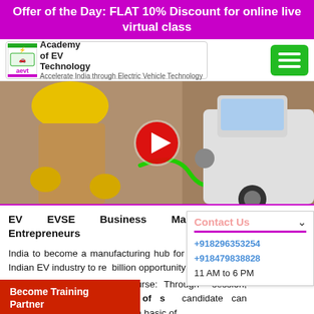Offer of the Day: FLAT 10% Discount for online live virtual class
[Figure (logo): Academy of EV Technology logo with AEVT branding]
[Figure (photo): Video thumbnail showing EV technician with charging equipment and electric car, with a play button overlay]
EV EVSE Business Management Entrepreneurs
India to become a manufacturing hub for in five years. Indian EV industry to re billion opportunity by 2025.
This Techno Commercial course: Through session, AEVT bridges the needs of s candidate can understand the technology from basic of
Become Training Partner
+918296353254
+918479838828
11 AM to 6 PM